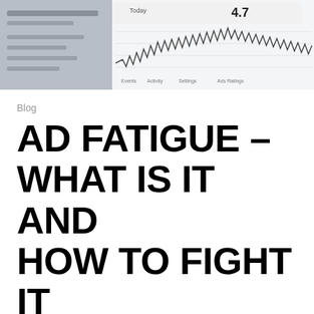[Figure (screenshot): Screenshot of an analytics or advertising dashboard showing a line graph with zigzag waveform pattern, partially visible numbers and labels]
Blog
AD FATIGUE – WHAT IS IT AND HOW TO FIGHT IT
As we all move into the holiday season and start ramping up our advertising efforts, we want to send a friendly reminder about ad fatigue and the steps to prevent it. If you're